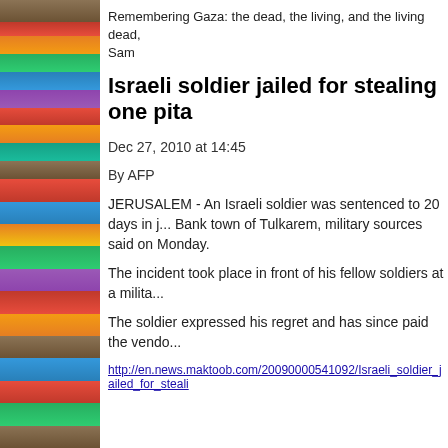[Figure (photo): Bookshelf with colorful books on the left side of the page]
Remembering Gaza: the dead, the living, and the living dead, Sam
Israeli soldier jailed for stealing one pita
Dec 27, 2010 at 14:45
By AFP
JERUSALEM - An Israeli soldier was sentenced to 20 days in jail for stealing a pita bread from a Palestinian vendor in the West Bank town of Tulkarem, military sources said on Monday.
The incident took place in front of his fellow soldiers at a military checkpoint.
The soldier expressed his regret and has since paid the vendor for the bread.
http://en.news.maktoob.com/20090000541092/Israeli_soldier_jailed_for_steali